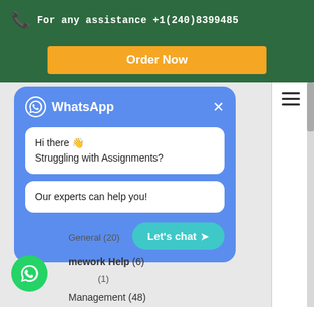For any assistance +1(240)8399485
Order Now
[Figure (screenshot): WhatsApp chat popup with blue background, showing messages 'Hi there 👋 Struggling with Assignments?' and 'Our experts can help you!' with a teal 'Let's chat ➤' button and close X button]
General (20)
mework Help (6)
(1)
Management (48)